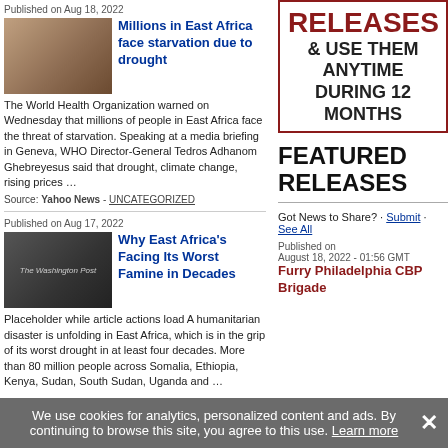Published on Aug 18, 2022
Millions in East Africa face starvation due to drought
The World Health Organization warned on Wednesday that millions of people in East Africa face the threat of starvation. Speaking at a media briefing in Geneva, WHO Director-General Tedros Adhanom Ghebreyesus said that drought, climate change, rising prices …
Source: Yahoo News - UNCATEGORIZED
Published on Aug 17, 2022
Why East Africa's Facing Its Worst Famine in Decades
Placeholder while article actions load A humanitarian disaster is unfolding in East Africa, which is in the grip of its worst drought in at least four decades. More than 80 million people across Somalia, Ethiopia, Kenya, Sudan, South Sudan, Uganda and …
RELEASES & USE THEM ANYTIME DURING 12 MONTHS
FEATURED RELEASES
Got News to Share? · Submit · See All
Published on August 18, 2022 - 01:56 GMT
Furry Philadelphia CBP Brigade
We use cookies for analytics, personalized content and ads. By continuing to browse this site, you agree to this use. Learn more